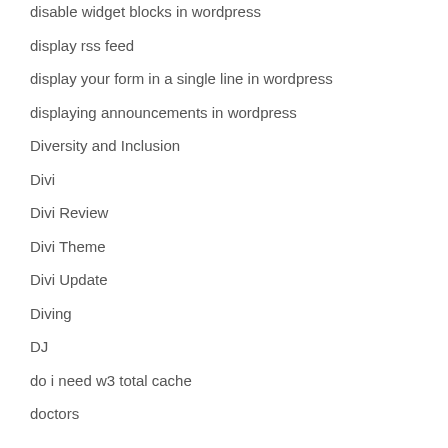disable widget blocks in wordpress
display rss feed
display your form in a single line in wordpress
displaying announcements in wordpress
Diversity and Inclusion
Divi
Divi Review
Divi Theme
Divi Update
Diving
DJ
do i need w3 total cache
doctors